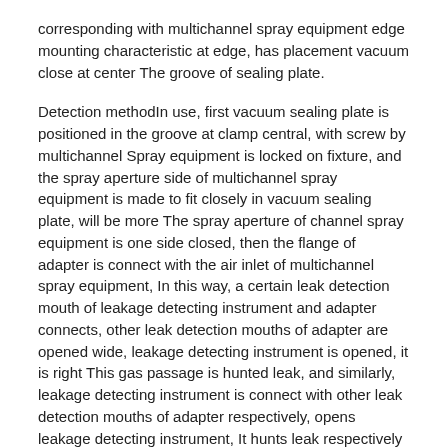corresponding with multichannel spray equipment edge mounting characteristic at edge, has placement vacuum close at center The groove of sealing plate.
Detection method​In use, first vacuum sealing plate is positioned in the groove at clamp central, with screw by multichannel Spray equipment is locked on fixture, and the spray aperture side of multichannel spray equipment is made to fit closely in vacuum sealing plate, will be more The spray aperture of channel spray equipment is one side closed, then the flange of adapter is connect with the air inlet of multichannel spray equipment, In this way, a certain leak detection mouth of leakage detecting instrument and adapter connects, other leak detection mouths of adapter are opened wide, leakage detecting instrument is opened, it is right This gas passage is hunted leak, and similarly, leakage detecting instrument is connect with other leak detection mouths of adapter respectively, opens leakage detecting instrument, It hunts leak respectively to other gas passages, realizes the leak detection operation in each channel of multichannel spray equipment.